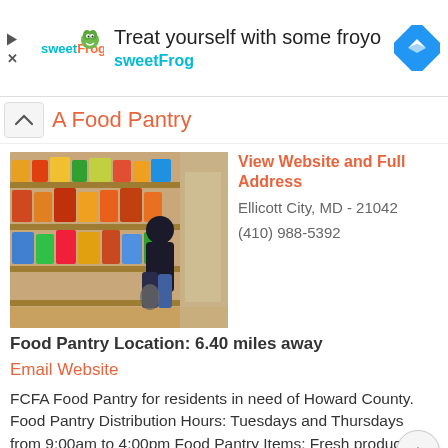[Figure (screenshot): sweetFrog advertisement banner with logo, text 'Treat yourself with some froyo sweetFrog', and a blue navigation arrow icon]
A Food Pantry
[Figure (photo): Photo of a person shopping at a food pantry with shelves of canned goods and packaged food]
View Website and Full Address
Ellicott City, MD - 21042
(410) 988-5392
Food Pantry Location: 6.40 miles away
Email Website
FCFA Food Pantry for residents in need of Howard County. Food Pantry Distribution Hours: Tuesdays and Thursdays from 9:00am to 4:00pm Food Pantry Items: Fresh produce, dairy products, frozen meats and other